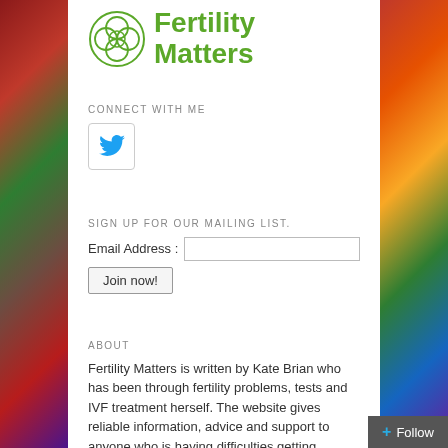[Figure (logo): Fertility Matters logo with green circular cell-like icon and green text 'Fertility Matters']
CONNECT WITH ME
[Figure (logo): Twitter bird icon in a rounded square button]
SIGN UP FOR OUR MAILING LIST.
Email Address : [input field] Join now!
ABOUT
Fertility Matters is written by Kate Brian who has been through fertility problems, tests and IVF treatment herself. The website gives reliable information, advice and support to anyone who is having difficulties getting pregnant. Read more